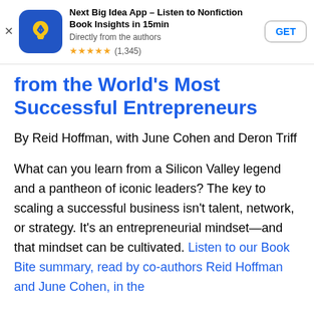[Figure (screenshot): App store banner ad for Next Big Idea App with app icon (blue background with yellow lightbulb/arrow), title, subtitle, star rating, and GET button]
from the World's Most Successful Entrepreneurs
By Reid Hoffman, with June Cohen and Deron Triff
What can you learn from a Silicon Valley legend and a pantheon of iconic leaders? The key to scaling a successful business isn't talent, network, or strategy. It's an entrepreneurial mindset—and that mindset can be cultivated. Listen to our Book Bite summary, read by co-authors Reid Hoffman and June Cohen, in the